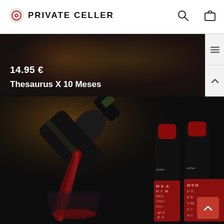PRIVATE CELLER
[Figure (screenshot): E-commerce wine shop screenshot showing Private Celler header with logo, search and cart icons, a dark banner with price 14.95€ and product name Thesaurus X 10 Meses, and a product photo of red wine bottles being poured]
14.95 €
Thesaurus X 10 Meses